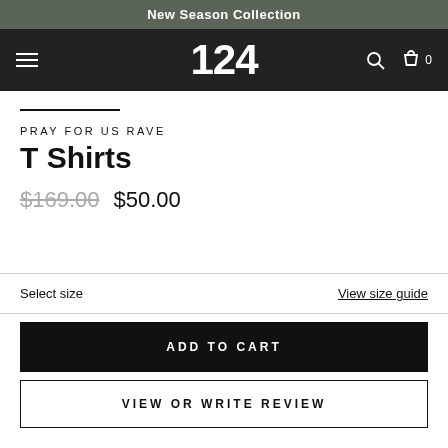New Season Collection
[Figure (screenshot): Navigation bar with hamburger menu icon on left, '124' logo in center, search and cart icons on right, on dark background]
PRAY FOR US RAVE
T Shirts
$169.00  $50.00
Select size
View size guide
ADD TO CART
VIEW OR WRITE REVIEW